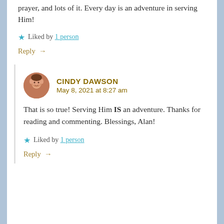prayer, and lots of it. Every day is an adventure in serving Him!
Liked by 1 person
Reply →
CINDY DAWSON
May 8, 2021 at 8:27 am
That is so true! Serving Him IS an adventure. Thanks for reading and commenting. Blessings, Alan!
Liked by 1 person
Reply →